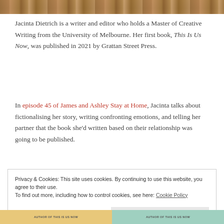[Figure (photo): Top banner image, appears to be a nature/outdoor photo with warm brown and earth tones]
Jacinta Dietrich is a writer and editor who holds a Master of Creative Writing from the University of Melbourne. Her first book, This Is Us Now, was published in 2021 by Grattan Street Press.
In episode 45 of James and Ashley Stay at Home, Jacinta talks about fictionalising her story, writing confronting emotions, and telling her partner that the book she'd written based on their relationship was going to be published.
Privacy & Cookies: This site uses cookies. By continuing to use this website, you agree to their use.
To find out more, including how to control cookies, see here: Cookie Policy
Close and accept
AUTHOR OF THIS IS US NOW